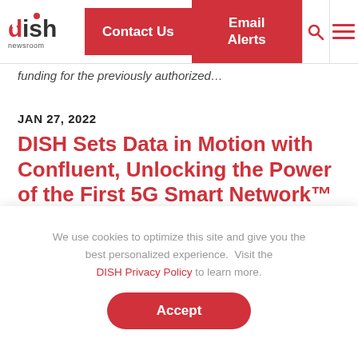DISH newsroom | Contact Us | Email Alerts
funding for the previously authorized…
JAN 27, 2022
DISH Sets Data in Motion with Confluent, Unlocking the Power of the First 5G Smart Network™
We use cookies to optimize this site and give you the best personalized experience.  Visit the DISH Privacy Policy to learn more.
Accept